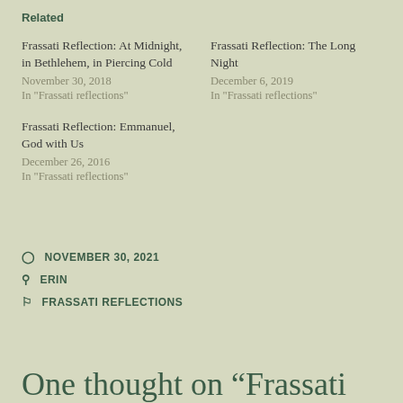Related
Frassati Reflection: At Midnight, in Bethlehem, in Piercing Cold
November 30, 2018
In "Frassati reflections"
Frassati Reflection: The Long Night
December 6, 2019
In "Frassati reflections"
Frassati Reflection: Emmanuel, God with Us
December 26, 2016
In "Frassati reflections"
NOVEMBER 30, 2021
ERIN
FRASSATI REFLECTIONS
One thought on “Frassati